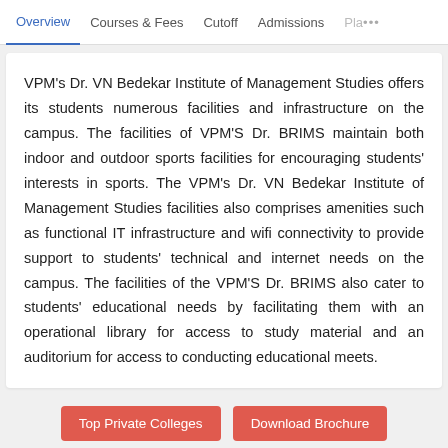Overview | Courses & Fees | Cutoff | Admissions | Pla...
VPM's Dr. VN Bedekar Institute of Management Studies offers its students numerous facilities and infrastructure on the campus. The facilities of VPM'S Dr. BRIMS maintain both indoor and outdoor sports facilities for encouraging students' interests in sports. The VPM's Dr. VN Bedekar Institute of Management Studies facilities also comprises amenities such as functional IT infrastructure and wifi connectivity to provide support to students' technical and internet needs on the campus. The facilities of the VPM'S Dr. BRIMS also cater to students' educational needs by facilitating them with an operational library for access to study material and an auditorium for access to conducting educational meets.
Top Private Colleges | Download Brochure | Add to Compare